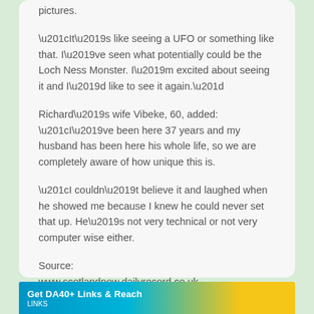pictures.

“It’s like seeing a UFO or something like that. I’ve seen what potentially could be the Loch Ness Monster. I’m excited about seeing it and I’d like to see it again.”

Richard’s wife Vibeke, 60, added: “I’ve been here 37 years and my husband has been here his whole life, so we are completely aware of how unique this is.

“I couldn’t believe it and laughed when he showed me because I knew he could never set that up. He’s not very technical or not very computer wise either.

Source:
www.scotlandnow.dailyrecord.co.uk
[Figure (other): Advertisement banner: Get DA40+ Links & Reach with links label visible at bottom left]